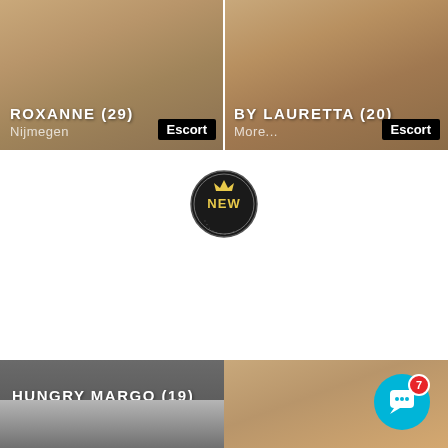[Figure (photo): Profile card for Roxanne (29) from Nijmegen, labeled Escort, top-left]
[Figure (photo): Profile card for By Lauretta (20), labeled More... and Escort, top-right]
[Figure (logo): NEW badge circle with crown icon, gold text on dark background]
[Figure (photo): Profile card for Hungry Margo (19) Golden key Amsterdam, bottom-left with grey overlay]
[Figure (photo): Bottom-left image panel showing partial interior photo]
[Figure (photo): Bottom-right image panel showing partial person photo]
[Figure (other): Chat button (blue circle with smiley face icon and red notification badge showing 7)]